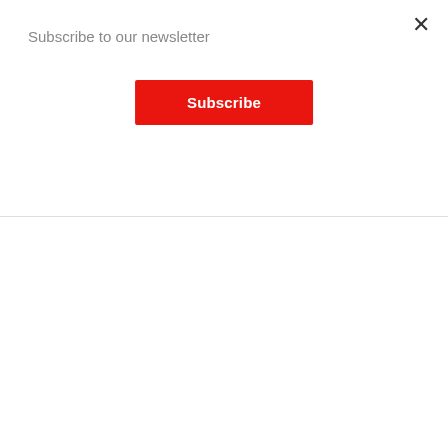Subscribe to our newsletter
Subscribe
authenticity
29 August 2022
[Figure (photo): Dark-background promotional image featuring Tarsus on Demand and ESET logos at the top, with a woman looking down in the lower portion, suggesting a digital security branding visual.]